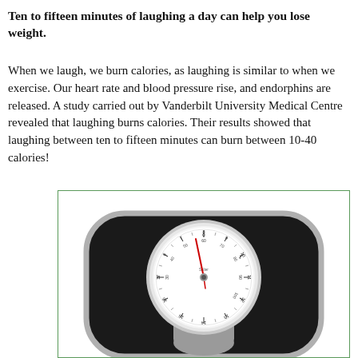Ten to fifteen minutes of laughing a day can help you lose weight.
When we laugh, we burn calories, as laughing is similar to when we exercise. Our heart rate and blood pressure rise, and endorphins are released. A study carried out by Vanderbilt University Medical Centre revealed that laughing burns calories. Their results showed that laughing between ten to fifteen minutes can burn between 10-40 calories!
[Figure (photo): A bathroom weighing scale with an analog dial face showing numbers in both kilograms and stones/pounds, with a red needle pointing near zero.]